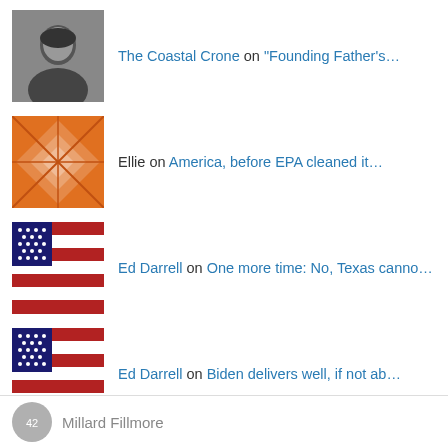The Coastal Crone on “Founding Father’s…
Ellie on America, before EPA cleaned it…
Ed Darrell on One more time: No, Texas canno…
Ed Darrell on Biden delivers well, if not ab…
Do you hear a tweet? Bathtub splashes to the Twitter
Privacy & Cookies: This site uses cookies. By continuing to use this website, you agree to their use. To find out more, including how to control cookies, see here: Cookie Policy
Close and accept
Millard Fillmore